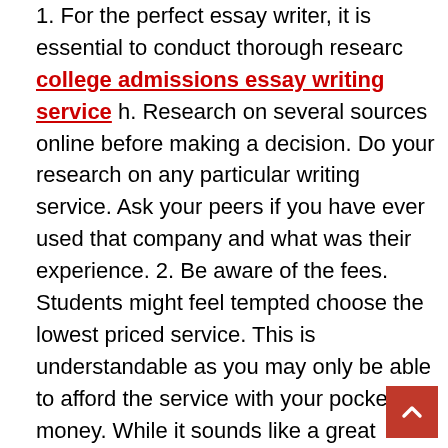1. For the perfect essay writer, it is essential to conduct thorough researc college admissions essay writing service h. Research on several sources online before making a decision. Do your research on any particular writing service. Ask your peers if you have ever used that company and what was their experience. 2. Be aware of the fees. Students might feel tempted choose the lowest priced service. This is understandable as you may only be able to afford the service with your pocket money. While it sounds like a great option, this could end up being one of the most expensive. This is your education. The best support partner should be chosen for each assignment. Writing essays is not easy. Your exams will automatically be failed if your assignment is not